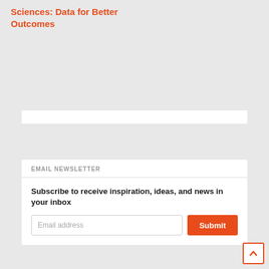Sciences: Data for Better Outcomes
EMAIL NEWSLETTER
Subscribe to receive inspiration, ideas, and news in your inbox
AUTO SOCIAL COUNTER
9 Followers